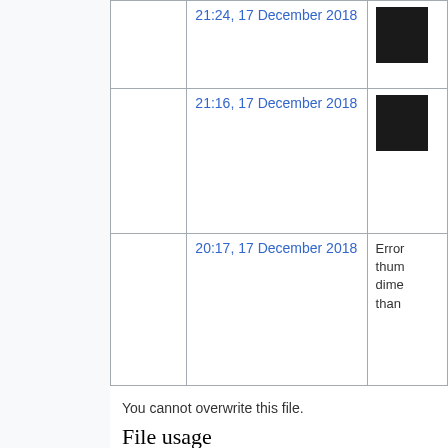|  | Date | Thumbnail/Note |
| --- | --- | --- |
|  | 21:24, 17 December 2018 | [thumbnail image] |
|  | 21:16, 17 December 2018 | [thumbnail image] |
|  | 20:17, 17 December 2018 | Error creating thumbnail: dime than |
You cannot overwrite this file.
File usage
The following page uses this file:
Minimize protein-covalent ligand complex with AMBER
Metadata